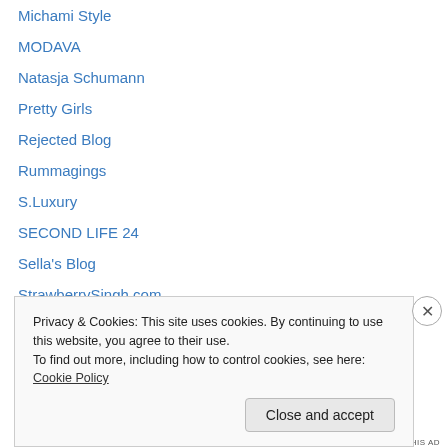Michami Style
MODAVA
Natasja Schumann
Pretty Girls
Rejected Blog
Rummagings
S.Luxury
SECOND LIFE 24
Sella's Blog
StrawberrySingh.com
SweetSexyCrazy
thaliaheckroth.com
Through Salamander's Eyes
Privacy & Cookies: This site uses cookies. By continuing to use this website, you agree to their use. To find out more, including how to control cookies, see here: Cookie Policy
Close and accept